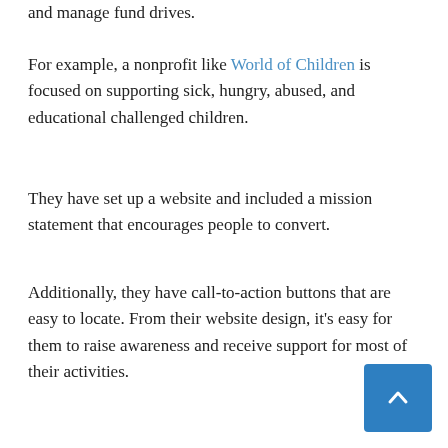and manage fund drives.
For example, a nonprofit like World of Children is focused on supporting sick, hungry, abused, and educational challenged children.
They have set up a website and included a mission statement that encourages people to convert.
Additionally, they have call-to-action buttons that are easy to locate. From their website design, it's easy for them to raise awareness and receive support for most of their activities.